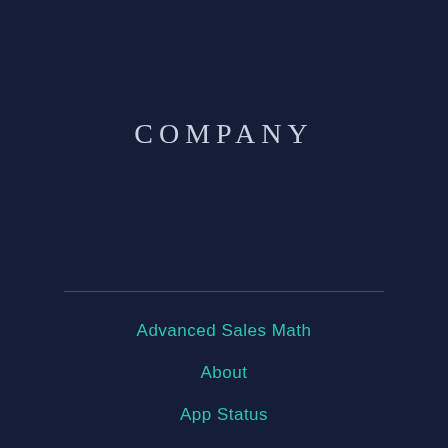COMPANY
Advanced Sales Math
About
App Status
News
Careers
Contact Us